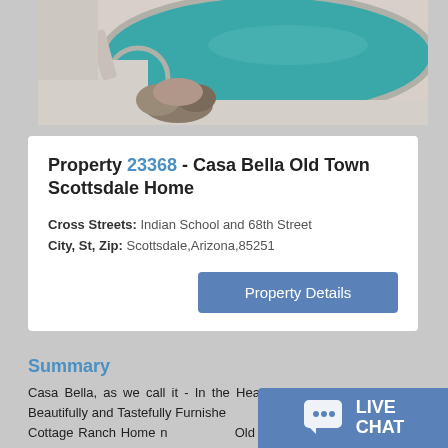[Figure (photo): Outdoor swimming pool with spa/hot tub, natural rock landscaping, and concrete surround. Pool water is teal/turquoise color.]
Property 23368 - Casa Bella Old Town Scottsdale Home
Cross Streets: Indian School and 68th Street
City, St, Zip: Scottsdale,Arizona,85251
Property Details
Summary
Casa Bella, as we call it - In the Heart of Old Town Scottsdale, Beautifully and Tastefully Furnished Style a super sweet Cottage Ranch Home near Old Town Scottsdale. Sparkling Pool (note: NOT FENCED).